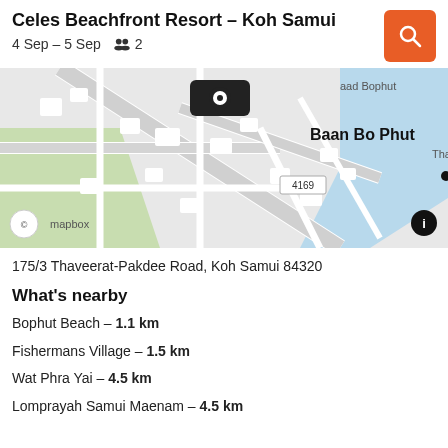Celes Beachfront Resort – Koh Samui
4 Sep – 5 Sep   👥 2
[Figure (map): Street map showing Baan Bo Phut area in Koh Samui with a location pin marker, road 4169, water body to the right, and Mapbox attribution at bottom left.]
175/3 Thaveerat-Pakdee Road, Koh Samui 84320
What's nearby
Bophut Beach – 1.1 km
Fishermans Village – 1.5 km
Wat Phra Yai – 4.5 km
Lomprayah Samui Maenam – 4.5 km